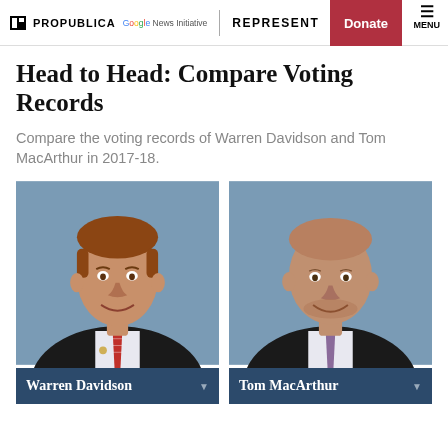ProPublica | Google News Initiative | REPRESENT | Donate | MENU
Head to Head: Compare Voting Records
Compare the voting records of Warren Davidson and Tom MacArthur in 2017-18.
[Figure (photo): Official portrait photo of Warren Davidson, a man in a dark suit with a red striped tie, smiling, against a blue-gray background]
[Figure (photo): Official portrait photo of Tom MacArthur, a bald man in a dark suit with a tie, smiling, against a blue-gray background]
Warren Davidson ▼
Tom MacArthur ▼